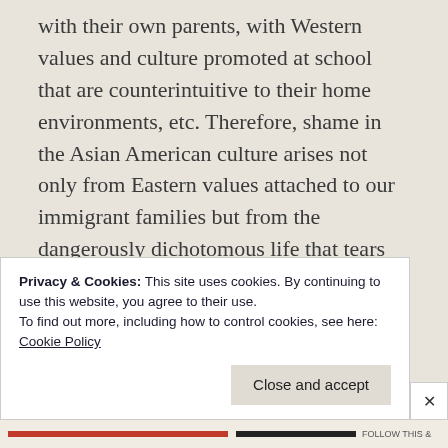with their own parents, with Western values and culture promoted at school that are counterintuitive to their home environments, etc. Therefore, shame in the Asian American culture arises not only from Eastern values attached to our immigrant families but from the dangerously dichotomous life that tears apart immigrant children.
There is powerful space for the Gospel to operate here. The Word says that God's glory...
Privacy & Cookies: This site uses cookies. By continuing to use this website, you agree to their use.
To find out more, including how to control cookies, see here: Cookie Policy